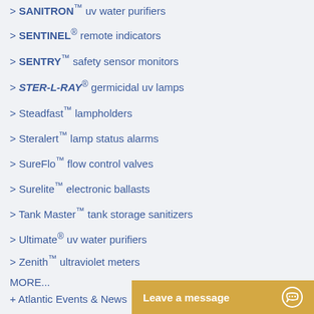> SANITRON™ uv water purifiers
> SENTINEL® remote indicators
> SENTRY™ safety sensor monitors
> STER-L-RAY® germicidal uv lamps
> Steadfast™ lampholders
> Steralert™ lamp status alarms
> SureFlo™ flow control valves
> Surelite™ electronic ballasts
> Tank Master™ tank storage sanitizers
> Ultimate® uv water purifiers
> Zenith™ ultraviolet meters
MORE...
+ Atlantic Events & News
+ Atlantic Customer Service Login
+ Atlantic Press Releases